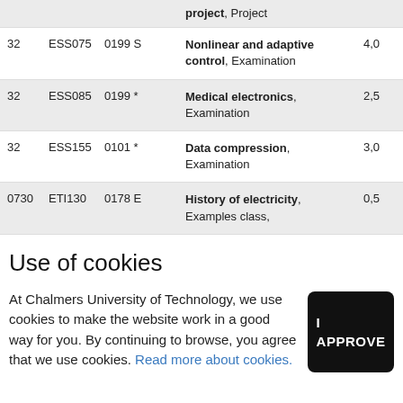| # | Code | Course No. | Name | Credits |  |
| --- | --- | --- | --- | --- | --- |
|  |  |  | project, Project |  |  |
| 32 | ESS075 | 0199 S | Nonlinear and adaptive control, Examination | 4,0 |  |
| 32 | ESS085 | 0199 * | Medical electronics, Examination | 2,5 |  |
| 32 | ESS155 | 0101 * | Data compression, Examination | 3,0 |  |
| 0730 | ETI130 | 0178 E | History of electricity, Examples class, | 0,5 |  |
Use of cookies
At Chalmers University of Technology, we use cookies to make the website work in a good way for you. By continuing to browse, you agree that we use cookies. Read more about cookies.